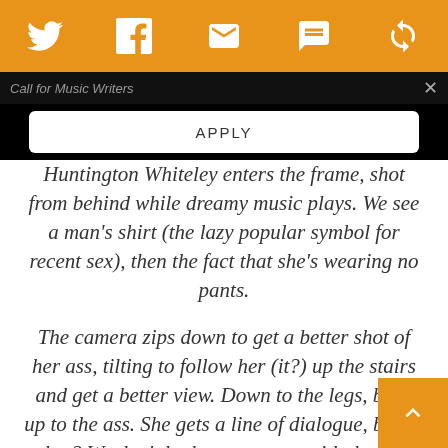[Figure (screenshot): Orange top navigation bar with Twitter, Facebook, email, SMS, and share icons in white]
Call for Music Writers
APPLY
Huntington Whiteley enters the frame, shot from behind while dreamy music plays. We see a man’s shirt (the lazy popular symbol for recent sex), then the fact that she’s wearing no pants.
The camera zips down to get a better shot of her ass, tilting to follow her (it?) up the stairs and get a better view. Down to the legs, back up to the ass. She gets a line of dialogue, but so what? We don’t look up; we stay with the legs. Then we follow ass to a bed where poor neglected hero Shia LaBeouf looks up to se a big white rabbit held in the dominant part of the frame.